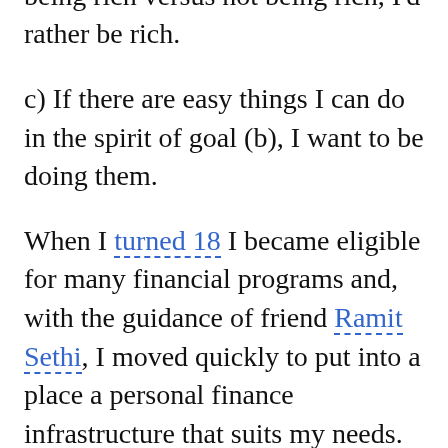b) If given the choice between being rich versus not being rich, I'd rather be rich.
c) If there are easy things I can do in the spirit of goal (b), I want to be doing them.
When I turned 18 I became eligible for many financial programs and, with the guidance of friend Ramit Sethi, I moved quickly to put into a place a personal finance infrastructure that suits my needs. Below are the details.
1. Short Term Cash Needs — I use a free Wells Fargo checking account that gives me ATM access anywhere in the Western U.S. I keep less than $1,000 in this